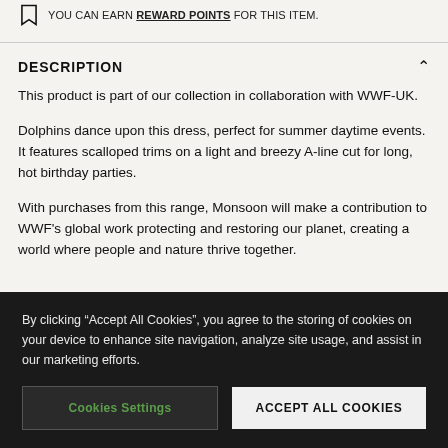YOU CAN EARN REWARD POINTS FOR THIS ITEM.
DESCRIPTION
This product is part of our collection in collaboration with WWF-UK.
Dolphins dance upon this dress, perfect for summer daytime events. It features scalloped trims on a light and breezy A-line cut for long, hot birthday parties.
With purchases from this range, Monsoon will make a contribution to WWF's global work protecting and restoring our planet, creating a world where people and nature thrive together.
By clicking “Accept All Cookies”, you agree to the storing of cookies on your device to enhance site navigation, analyze site usage, and assist in our marketing efforts.
Cookies Settings
ACCEPT ALL COOKIES